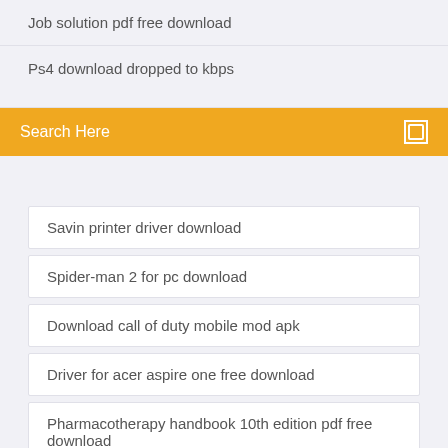Job solution pdf free download
Ps4 download dropped to kbps
Search Here
Savin printer driver download
Spider-man 2 for pc download
Download call of duty mobile mod apk
Driver for acer aspire one free download
Pharmacotherapy handbook 10th edition pdf free download